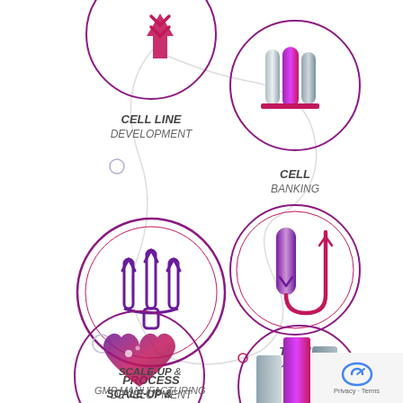[Figure (infographic): Biotech/pharma process flowchart showing circular icons connected by curved lines: Cell Line Development (top left, pink arrow icon), Cell Banking (top right, purple tube icons), Process Development (middle left, purple upward arrows icon), Tech Transfer (middle right, purple U-turn arrow icon), Scale-Up & GMP Manufacturing (bottom left, purple heart icon), and a bottom right circle with stacked colored blocks icon. Labels appear below each circle.]